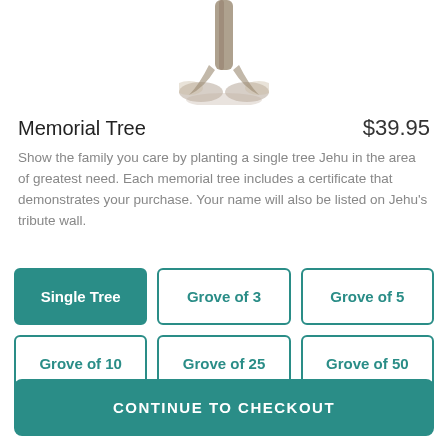[Figure (illustration): Pencil sketch illustration of a tree trunk with roots at the bottom, cropped at the top]
Memorial Tree
$39.95
Show the family you care by planting a single tree Jehu in the area of greatest need. Each memorial tree includes a certificate that demonstrates your purchase. Your name will also be listed on Jehu's tribute wall.
Single Tree
Grove of 3
Grove of 5
Grove of 10
Grove of 25
Grove of 50
CONTINUE TO CHECKOUT